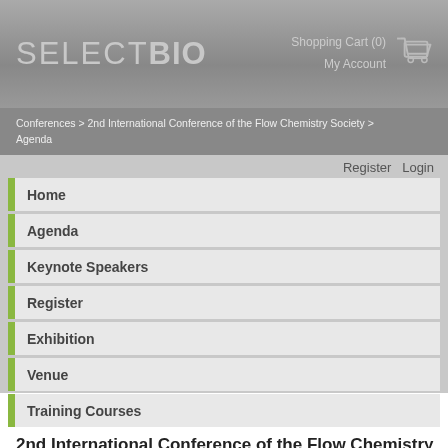SELECTBIO   Shopping Cart (0)   My Account
Conferences > 2nd International Conference of the Flow Chemistry Society > Agenda
Register   Login
Home
Agenda
Keynote Speakers
Register
Exhibition
Venue
Training Courses
2nd International Conference of the Flow Chemistry Society Agenda